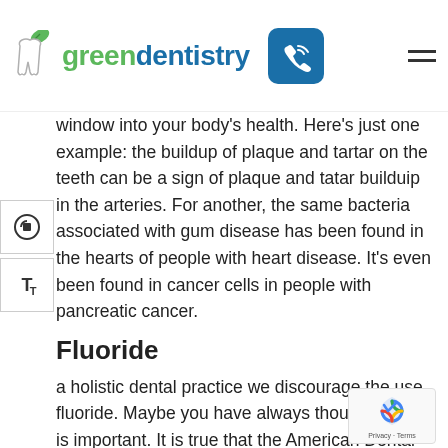greendentistry
window into your body's health. Here's just one example: the buildup of plaque and tartar on the teeth can be a sign of plaque and tatar builduip in the arteries. For another, the same bacteria associated with gum disease has been found in the hearts of people with heart disease. It's even been found in cancer cells in people with pancreatic cancer.
Fluoride
a holistic dental practice we discourage the use fluoride. Maybe you have always thought fluoride is important. It is true that the American Dental Association recommends fluoridated toothpaste, and  even using it on babies when their teeth begin coming in.
But fluoride is a known neurotoxin, and there are alternative products and treatments that can strengthen